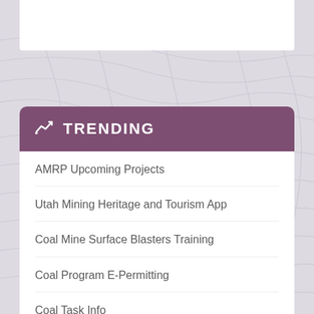TRENDING
AMRP Upcoming Projects
Utah Mining Heritage and Tourism App
Coal Mine Surface Blasters Training
Coal Program E-Permitting
Coal Task Info
Coal Permit Files
Minerals Task Info
Minerals Permitting Forms
Minerals Bonding Forms